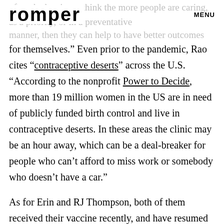romper  MENU
often the barrier to think the more people are caring, as a priority, or in a preventative manner, then they can help to have better outcomes for themselves." Even prior to the pandemic, Rao cites “contraceptive deserts” across the U.S. “According to the nonprofit Power to Decide, more than 19 million women in the US are in need of publicly funded birth control and live in contraceptive deserts. In these areas the clinic may be an hour away, which can be a deal-breaker for people who can’t afford to miss work or somebody who doesn’t have a car.”
As for Erin and RJ Thompson, both of them received their vaccine recently, and have resumed